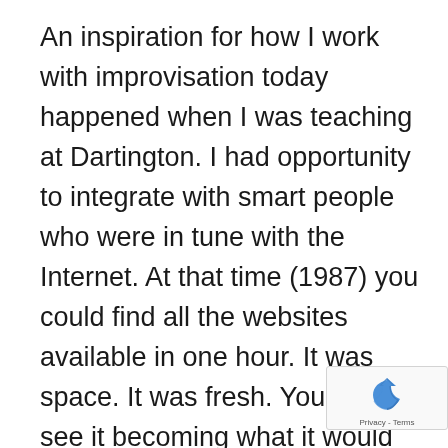An inspiration for how I work with improvisation today happened when I was teaching at Dartington. I had opportunity to integrate with smart people who were in tune with the Internet. At that time (1987) you could find all the websites available in one hour. It was space. It was fresh. You could see it becoming what it would become; it is dense, it is spatial, it is interactive, it is random, it is a society, it is a planet, it is urban, it is free in many places you go to, it is real, it is virtual.
[Figure (logo): reCAPTCHA badge with recycling-arrow icon and Privacy - Terms text]